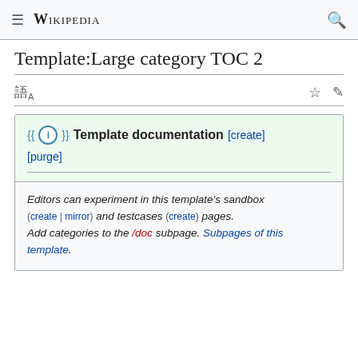≡ WIKIPEDIA 🔍
Template:Large category TOC 2
{{ℹ}} Template documentation [create] [purge]
Editors can experiment in this template's sandbox (create | mirror) and testcases (create) pages. Add categories to the /doc subpage. Subpages of this template.